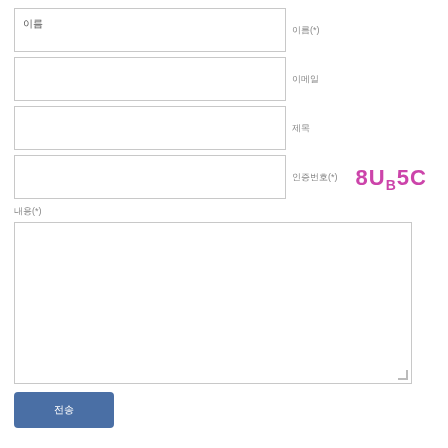이름
이름(*)
이메일
제목
인증번호(*)
[Figure (other): CAPTCHA image showing handwritten text '8U B5C' in pink/magenta color]
내용(*)
전송